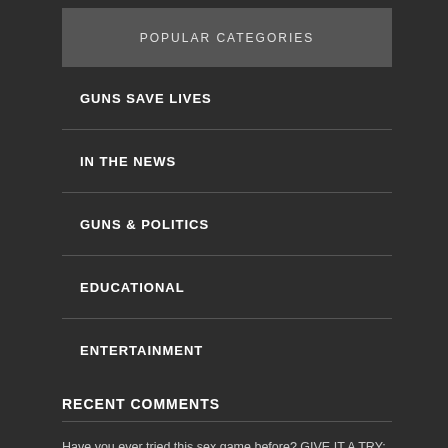POPULAR CATEGORIES
GUNS SAVE LIVES
IN THE NEWS
GUNS & POLITICS
EDUCATIONAL
ENTERTAINMENT
RECENT COMMENTS
Have you ever tried this sex game before? GIVE IT A TRY: https://letsg0dancing.page.link/go?hs=151b7b3fb03d357f3e099d6e8118b935& on